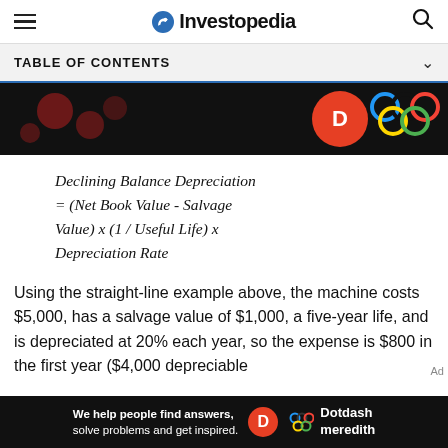Investopedia
TABLE OF CONTENTS
[Figure (photo): Dark advertisement banner with colorful circles and logos]
Using the straight-line example above, the machine costs $5,000, has a salvage value of $1,000, a five-year life, and is depreciated at 20% each year, so the expense is $800 in the first year ($4,000 depreciable
[Figure (photo): Dotdash Meredith advertisement banner at the bottom: 'We help people find answers, solve problems and get inspired.']